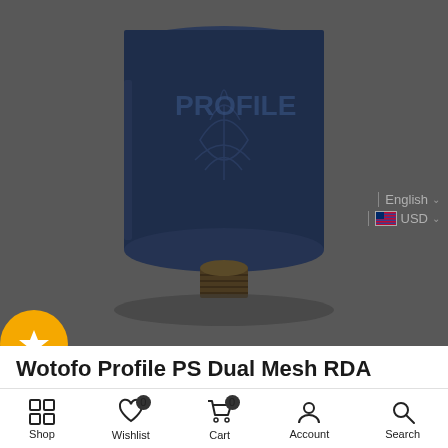[Figure (photo): A dark navy/blue cylindrical vaping atomizer device (RDA) with decorative leaf/floral etching, shown from a slightly elevated angle against a dark gray background. The device has a threaded connector at the bottom.]
English
USD
[Figure (other): Yellow circular badge with a white star icon]
Wotofo Profile PS Dual Mesh RDA
Shop | Wishlist 0 | Cart 0 | Account | Search